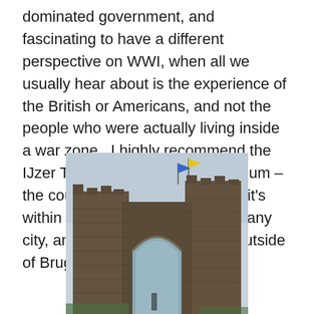dominated government, and fascinating to have a different perspective on WWI, when all we usually hear about is the experience of the British or Americans, and not the people who were actually living inside a war zone.  I highly recommend the IJzer Tower if you're visiting Belgium – the country isn't all that large, so it's within a two hour drive of almost any city, and only about a half hour outside of Brugge.  4/5.
[Figure (photo): Photograph of a large stone gateway or arch structure (the IJzer Tower ruins area), shot from below against an overcast sky. Two flags are visible at the top. The structure has a gothic pointed arch opening and appears to be made of dark stone.]